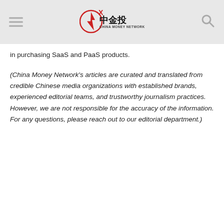China Money Network
in purchasing SaaS and PaaS products.
(China Money Network's articles are curated and translated from credible Chinese media organizations with established brands, experienced editorial teams, and trustworthy journalism practices. However, we are not responsible for the accuracy of the information. For any questions, please reach out to our editorial department.)